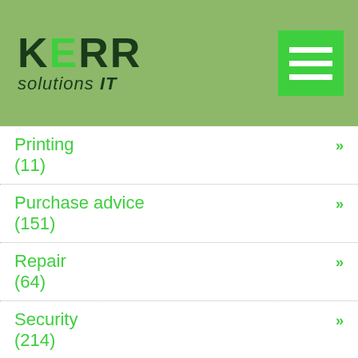KERR solutions IT
Printing (11) »
Purchase advice (151) »
Repair (64) »
Security (214) »
Servers (85) »
Software »